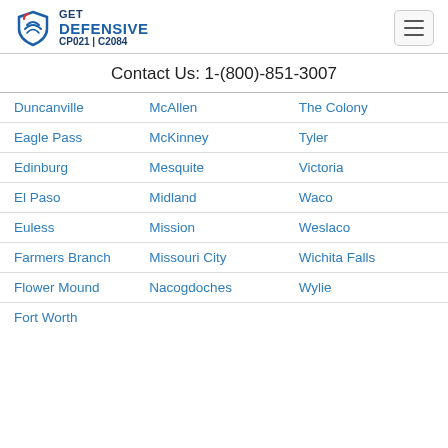GET DEFENSIVE CP021 | C2084
Contact Us: 1-(800)-851-3007
| Duncanville | McAllen | The Colony |
| Eagle Pass | McKinney | Tyler |
| Edinburg | Mesquite | Victoria |
| El Paso | Midland | Waco |
| Euless | Mission | Weslaco |
| Farmers Branch | Missouri City | Wichita Falls |
| Flower Mound | Nacogdoches | Wylie |
| Fort Worth |  |  |